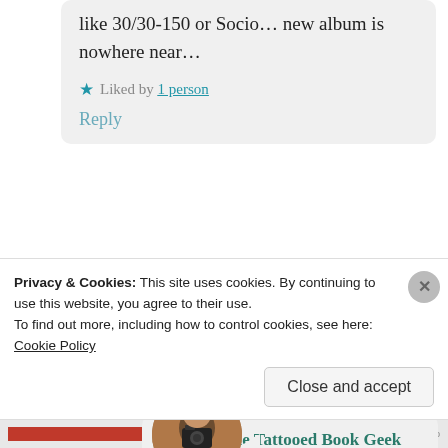like 30/30-150 or Socio… new album is nowhere near…
★ Liked by 1 person
Reply
[Figure (photo): Circular avatar photo of a person holding a camera in front of their face, against a brick wall background]
Drew @ The Tattooed Book Geek
July 10, 2017 at 3:30 pm

True. 😐
Privacy & Cookies: This site uses cookies. By continuing to use this website, you agree to their use.
To find out more, including how to control cookies, see here: Cookie Policy
Close and accept